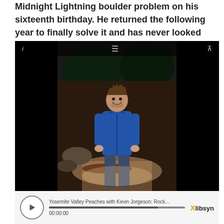Midnight Lightning boulder problem on his sixteenth birthday. He returned the following year to finally solve it and has never looked back.
[Figure (screenshot): Embedded media player showing a photo of a young man in a blue hoodie standing outdoors at night in Yosemite Valley. The player has a dark background with player controls at the bottom showing 'Yosemite Valley Peaches with Kevin Jorgeson: Rock...' and timestamp 00:00:00, with a libsyn logo.]